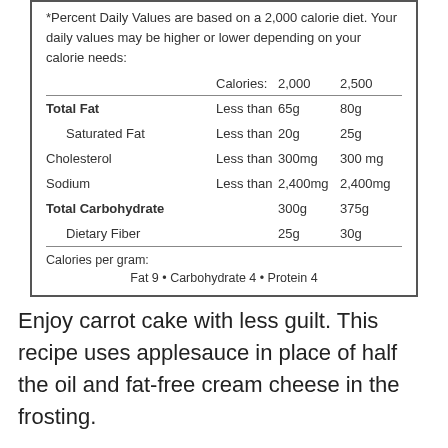|  | Calories: | 2,000 | 2,500 |
| --- | --- | --- | --- |
| Total Fat | Less than | 65g | 80g |
| Saturated Fat | Less than | 20g | 25g |
| Cholesterol | Less than | 300mg | 300 mg |
| Sodium | Less than | 2,400mg | 2,400mg |
| Total Carbohydrate |  | 300g | 375g |
| Dietary Fiber |  | 25g | 30g |
Calories per gram:
Fat 9 • Carbohydrate 4 • Protein 4
Enjoy carrot cake with less guilt. This recipe uses applesauce in place of half the oil and fat-free cream cheese in the frosting.